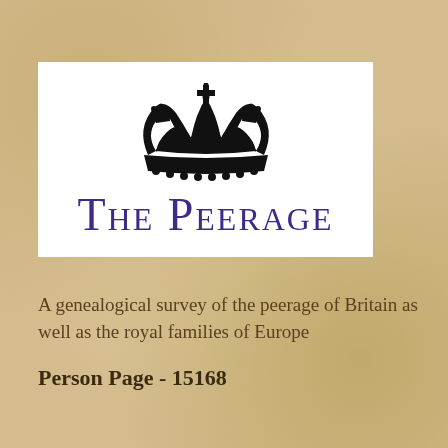[Figure (logo): The Peerage logo with a black crown above the text 'THE PEERAGE' in large purple small-caps lettering on a white background]
A genealogical survey of the peerage of Britain as well as the royal families of Europe
Person Page - 15168